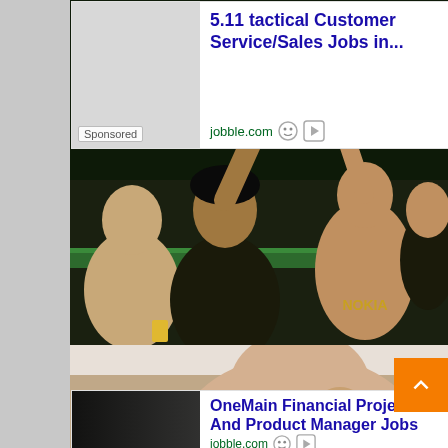[Figure (photo): Cricket fans celebrating, wearing black Nokia jerseys, at a stadium. Group of excited people cheering and pointing upward.]
5.11 tactical Customer Service/Sales Jobs in...
jobble.com
Sponsored
[Figure (photo): Two men at a press conference or event, one covering his mouth, the other looking down. Appears to be a sports or Bollywood event.]
OneMain Financial Project And Product Manager Jobs
jobble.com
Sponsored